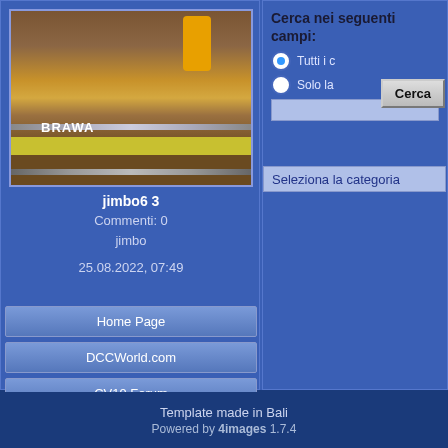[Figure (photo): Photo of a model train track and measuring tape on a wooden surface, with a drill/tool visible. Package labeled BRAWA visible.]
jimbo6 3
Commenti: 0
jimbo

25.08.2022, 07:49
Home Page
DCCWorld.com
CV19 Forum
Cerca nei seguenti campi:
Tutti i c
Solo la
Cerca
Seleziona la categoria
Template made in Bali
Powered by 4images 1.7.4